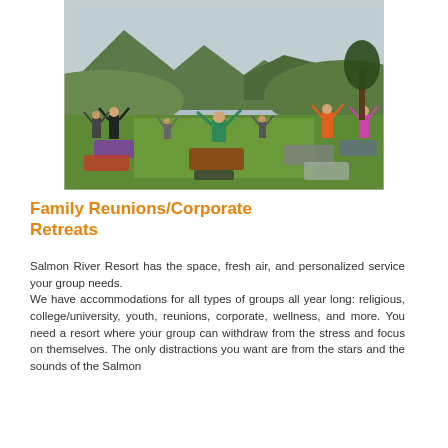[Figure (photo): Outdoor yoga class on a green lawn with mountains in the background. Multiple people on yoga mats with arms raised, led by an instructor in the center wearing a teal jacket. Trees and hills visible in the background under a cloudy sky.]
Family Reunions/Corporate Retreats
Salmon River Resort has the space, fresh air, and personalized service your group needs.
We have accommodations for all types of groups all year long: religious, college/university, youth, reunions, corporate, wellness, and more. You need a resort where your group can withdraw from the stress and focus on themselves. The only distractions you want are from the stars and the sounds of the Salmon